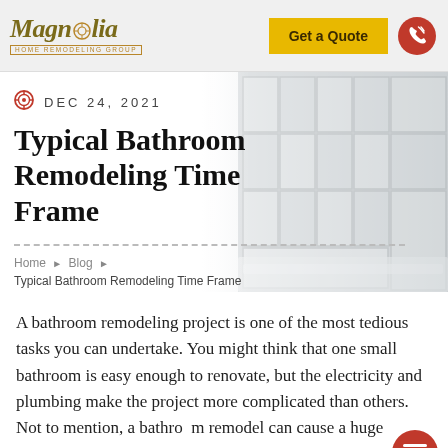Magnolia Home Remodeling Group | Get a Quote
DEC 24, 2021
Typical Bathroom Remodeling Time Frame
Home ▶ Blog ▶ Typical Bathroom Remodeling Time Frame
A bathroom remodeling project is one of the most tedious tasks you can undertake. You might think that one small bathroom is easy enough to renovate, but the electricity and plumbing make the project more complicated than others. Not to mention, a bathroom remodel can cause a huge disruption to your daily